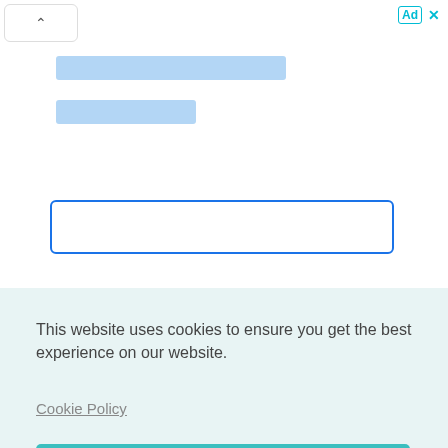[Figure (screenshot): Advertisement/form widget area with two light-blue placeholder bars and a blue-bordered input field. Top-left has a caret (up arrow) button; top-right has an 'Ad' label and X close icon in teal.]
This website uses cookies to ensure you get the best experience on our website.
Cookie Policy
Got it!
r up
on't
realise that she was actually a real life